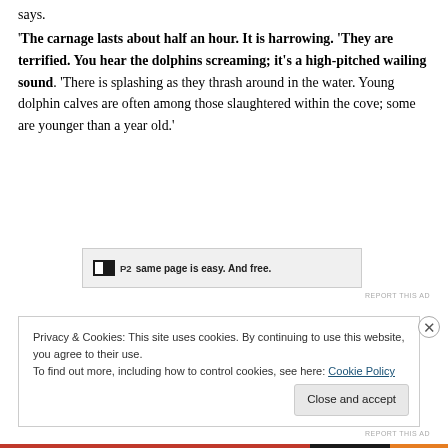says.
‘The carnage lasts about half an hour. It is harrowing. ‘They are terrified. You hear the dolphins screaming; it’s a high-pitched wailing sound. ‘There is splashing as they thrash around in the water. Young dolphin calves are often among those slaughtered within the cove; some are younger than a year old.’
[Figure (other): Advertisement banner with PZ logo and text 'same page is easy. And free.']
REPORT THIS AD
Privacy & Cookies: This site uses cookies. By continuing to use this website, you agree to their use.
To find out more, including how to control cookies, see here: Cookie Policy
Close and accept